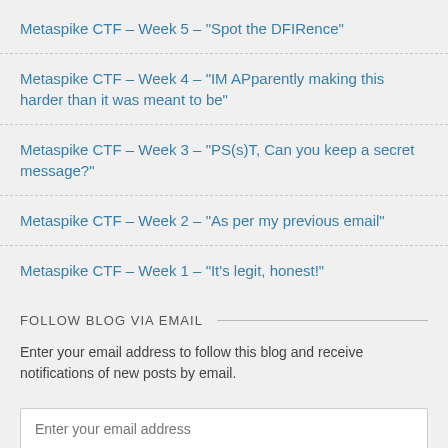Metaspike CTF – Week 5 – "Spot the DFIRence"
Metaspike CTF – Week 4 – "IM APparently making this harder than it was meant to be"
Metaspike CTF – Week 3 – "PS(s)T, Can you keep a secret message?"
Metaspike CTF – Week 2 – "As per my previous email"
Metaspike CTF – Week 1 – "It's legit, honest!"
FOLLOW BLOG VIA EMAIL
Enter your email address to follow this blog and receive notifications of new posts by email.